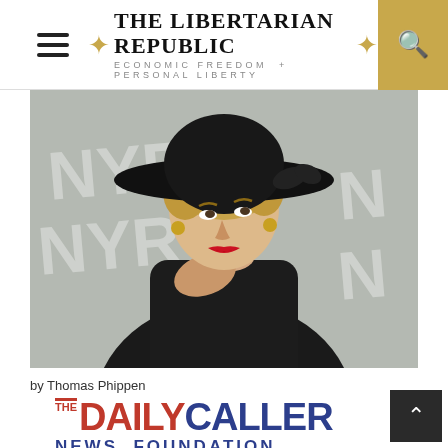THE LIBERTARIAN REPUBLIC — ECONOMIC FREEDOM + PERSONAL LIBERTY
[Figure (photo): Woman wearing a large black wide-brim hat and black outfit, striking a pose at what appears to be a media/event backdrop with 'NYR' lettering visible]
by Thomas Phippen
[Figure (logo): The Daily Caller News Foundation logo — 'THE DAILY CALLER' in red and blue bold text, 'NEWS FOUNDATION' in blue below]